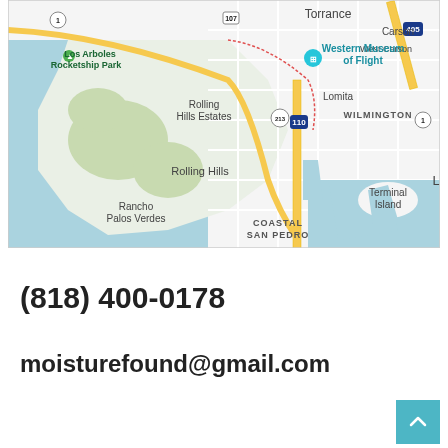[Figure (map): Google Maps screenshot showing the Palos Verdes Peninsula area of Los Angeles, California. Visible locations include Torrance, Carson, West Carson, Los Arboles Rocketship Park, Western Museum of Flight, Rolling Hills Estates, Lomita, Wilmington, Rolling Hills, Rancho Palos Verdes, Terminal Island, and Coastal San Pedro. Road labels include routes 1, 107, 110, 213, and 405.]
(818) 400-0178
moisturefound@gmail.com